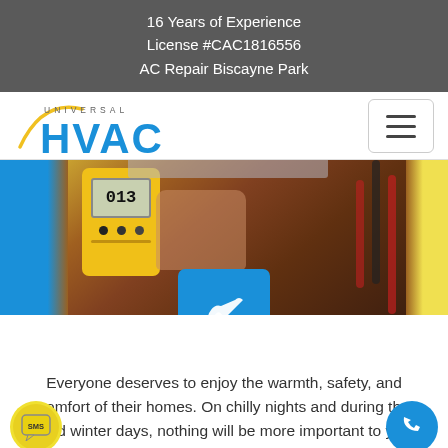16 Years of Experience
License #CAC1816556
AC Repair Biscayne Park
[Figure (logo): Universal HVAC logo with blue HVAC text and arc swoosh]
[Figure (photo): HVAC technician holding a yellow digital multimeter reading 013, measuring HVAC equipment, with blue wrench icon overlay]
Everyone deserves to enjoy the warmth, safety, and comfort of their homes. On chilly nights and during the cold winter days, nothing will be more important to your comfort than an efficiently working furnace. You cannot afford to have a malfunctioning furnace which is why it is important to...